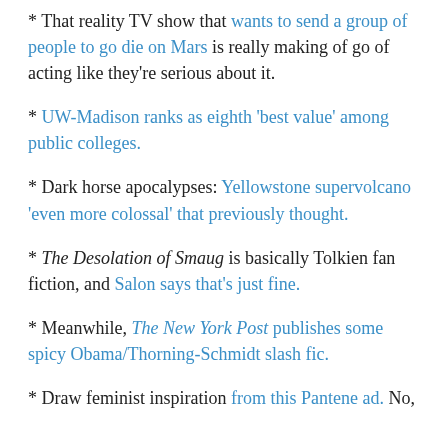* That reality TV show that wants to send a group of people to go die on Mars is really making of go of acting like they're serious about it.
* UW-Madison ranks as eighth 'best value' among public colleges.
* Dark horse apocalypses: Yellowstone supervolcano 'even more colossal' that previously thought.
* The Desolation of Smaug is basically Tolkien fan fiction, and Salon says that's just fine.
* Meanwhile, The New York Post publishes some spicy Obama/Thorning-Schmidt slash fic.
* Draw feminist inspiration from this Pantene ad. No,